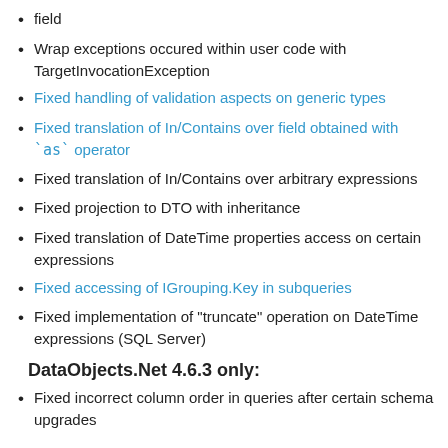field
Wrap exceptions occured within user code with TargetInvocationException
Fixed handling of validation aspects on generic types
Fixed translation of In/Contains over field obtained with `as` operator
Fixed translation of In/Contains over arbitrary expressions
Fixed projection to DTO with inheritance
Fixed translation of DateTime properties access on certain expressions
Fixed accessing of IGrouping.Key in subqueries
Fixed implementation of "truncate" operation on DateTime expressions (SQL Server)
DataObjects.Net 4.6.3 only:
Fixed incorrect column order in queries after certain schema upgrades